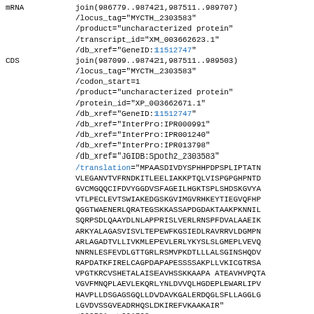mRNA   join(986779..987421,987511..989707)
/locus_tag="MYCTH_2303583"
/product="uncharacterized protein"
/transcript_id="XM_003662623.1"
/db_xref="GeneID:11512747"
CDS   join(987099..987421,987511..989503)
/locus_tag="MYCTH_2303583"
/codon_start=1
/product="uncharacterized protein"
/protein_id="XP_003662671.1"
/db_xref="GeneID:11512747"
/db_xref="InterPro:IPR000991"
/db_xref="InterPro:IPR001240"
/db_xref="InterPro:IPR013798"
/db_xref="JGIDB:Spoth2_2303583"
/translation="MPAASDIVDYSPHHPDPSPLIPTATN..."
gene   <990531..>991703
/locus_tag="MYCTH_2117942"
/db_xref="GeneID:11512748"
mRNA   join(<990531..990722,990858..991055,991...